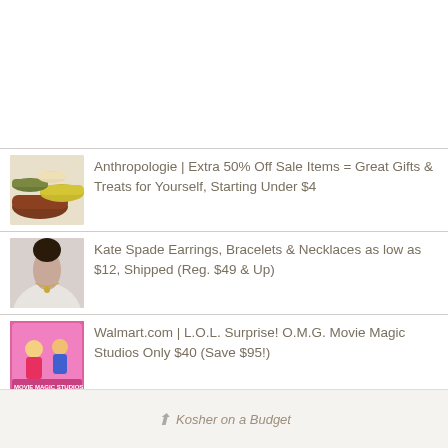Anthropologie | Extra 50% Off Sale Items = Great Gifts & Treats for Yourself, Starting Under $4
Kate Spade Earrings, Bracelets & Necklaces as low as $12, Shipped (Reg. $49 & Up)
Walmart.com | L.O.L. Surprise! O.M.G. Movie Magic Studios Only $40 (Save $95!)
Kosher on a Budget